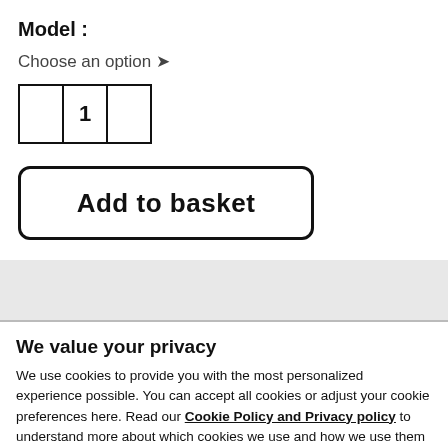Model :
Choose an option ▾
[Figure (other): Quantity selector widget with minus button, value 1, and plus button]
[Figure (other): Add to basket button with rounded border]
We value your privacy
We use cookies to provide you with the most personalized experience possible. You can accept all cookies or adjust your cookie preferences here. Read our Cookie Policy and Privacy policy to understand more about which cookies we use and how we use them
OK
Show details